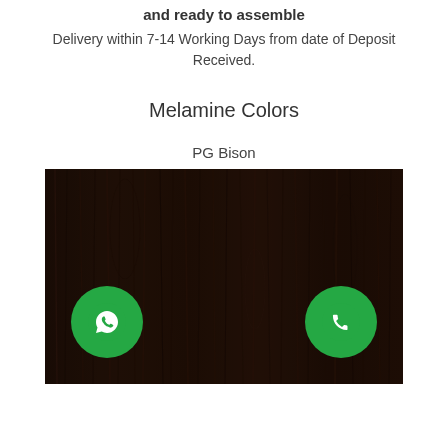and ready to assemble
Delivery within 7-14 Working Days from date of Deposit Received.
Melamine Colors
PG Bison
[Figure (photo): Dark brown wood grain texture (wenge/dark walnut melamine color sample from PG Bison)]